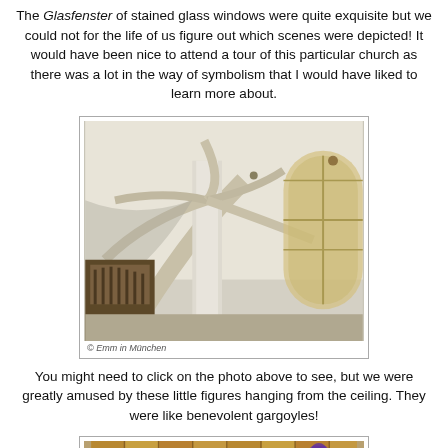The Glasfenster of stained glass windows were quite exquisite but we could not for the life of us figure out which scenes were depicted!  It would have been nice to attend a tour of this particular church as there was a lot in the way of symbolism that I would have liked to learn more about.
[Figure (photo): Interior of a Gothic church showing vaulted ceiling ribs, a tall white pillar, arched windows with stained glass on the right, and an organ visible in the background. Caption reads: © Emm in München]
You might need to click on the photo above to see, but we were greatly amused by these little figures hanging from the ceiling. They were like benevolent gargoyles!
[Figure (photo): Interior of a church or chapel showing wooden paneled walls and a purple/violet figure or statue visible on the right side.]